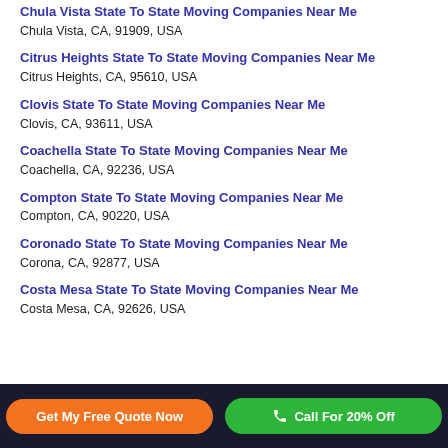Chula Vista State To State Moving Companies Near Me
Chula Vista, CA, 91909, USA
Citrus Heights State To State Moving Companies Near Me
Citrus Heights, CA, 95610, USA
Clovis State To State Moving Companies Near Me
Clovis, CA, 93611, USA
Coachella State To State Moving Companies Near Me
Coachella, CA, 92236, USA
Compton State To State Moving Companies Near Me
Compton, CA, 90220, USA
Coronado State To State Moving Companies Near Me
Corona, CA, 92877, USA
Costa Mesa State To State Moving Companies Near Me
Costa Mesa, CA, 92626, USA
Get My Free Quote Now | Call For 20% Off